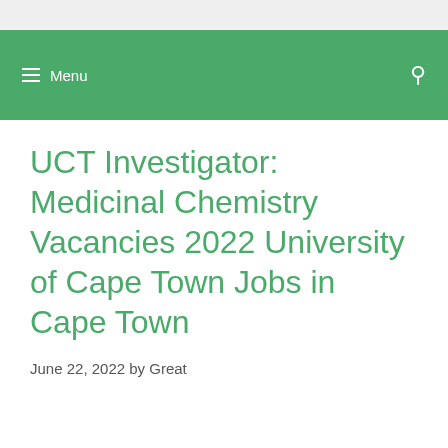Menu
UCT Investigator: Medicinal Chemistry Vacancies 2022 University of Cape Town Jobs in Cape Town
June 22, 2022 by Great